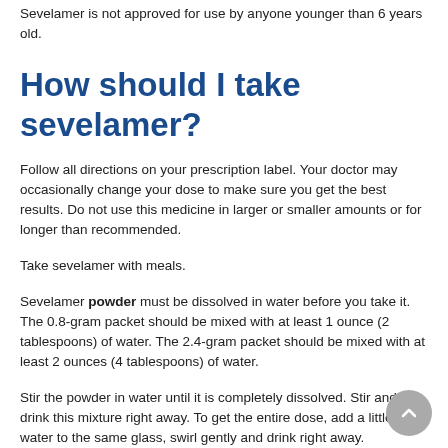Sevelamer is not approved for use by anyone younger than 6 years old.
How should I take sevelamer?
Follow all directions on your prescription label. Your doctor may occasionally change your dose to make sure you get the best results. Do not use this medicine in larger or smaller amounts or for longer than recommended.
Take sevelamer with meals.
Sevelamer powder must be dissolved in water before you take it. The 0.8-gram packet should be mixed with at least 1 ounce (2 tablespoons) of water. The 2.4-gram packet should be mixed with at least 2 ounces (4 tablespoons) of water.
Stir the powder in water until it is completely dissolved. Stir and drink this mixture right away. To get the entire dose, add a little more water to the same glass, swirl gently and drink right away.